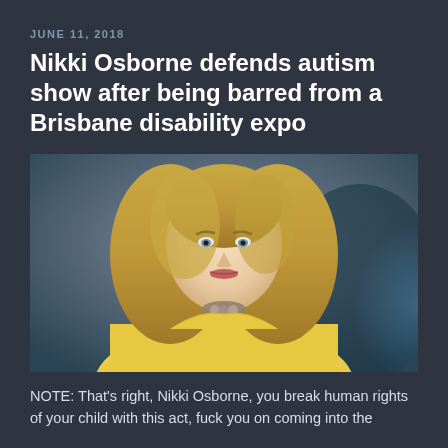JUNE 11, 2018
Nikki Osborne defends autism show after being barred from a Brisbane disability expo
[Figure (photo): Photo of Nikki Osborne, a blonde woman wearing a yellow dress and statement necklace, photographed against a dark bluish background.]
NOTE: That's right, Nikki Osborne, you break human rights of your child with this act, fuck you on coming into the